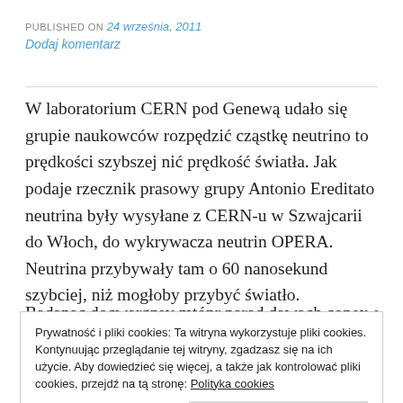PUBLISHED ON 24 września, 2011
Dodaj komentarz
W laboratorium CERN pod Genewą udało się grupie naukowców rozpędzić cząstkę neutrino to prędkości szybszej nić prędkość światła. Jak podaje rzecznik prasowy grupy Antonio Ereditato neutrina były wysyłane z CERN-u w Szwajcarii do Włoch, do wykrywacza neutrin OPERA. Neutrina przybywały tam o 60 nanosekund szybciej, niż mogłoby przybyć światło.
Prywatność i pliki cookies: Ta witryna wykorzystuje pliki cookies. Kontynuując przeglądanie tej witryny, zgadzasz się na ich użycie. Aby dowiedzieć się więcej, a także jak kontrolować pliki cookies, przejdź na tą stronę: Polityka cookies
Neutrino były o 60 nanosekund szybsze.